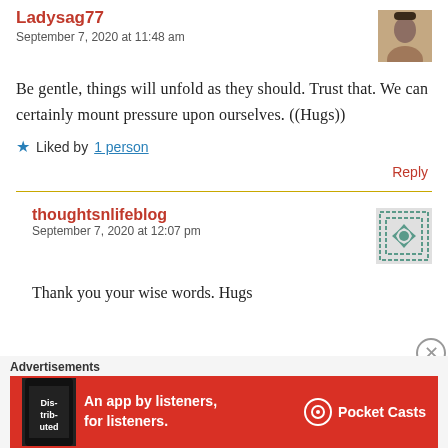Ladysag77
September 7, 2020 at 11:48 am
Be gentle, things will unfold as they should. Trust that. We can certainly mount pressure upon ourselves. ((Hugs))
Liked by 1 person
Reply
thoughtsnlifeblog
September 7, 2020 at 12:07 pm
Thank you your wise words. Hugs
Advertisements
[Figure (infographic): Red Pocket Casts advertisement banner: 'An app by listeners, for listeners.' with phone image and Pocket Casts logo]